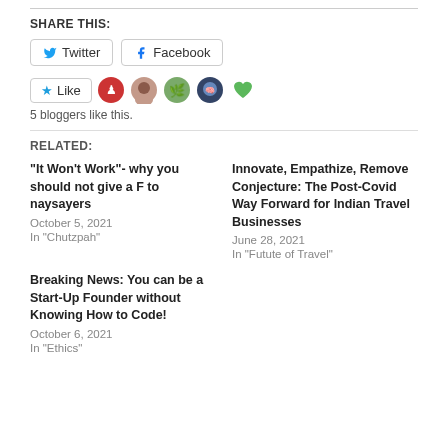SHARE THIS:
Twitter  Facebook
Like  5 bloggers like this.
RELATED:
“It Won’t Work”- why you should not give a F to naysayers
October 5, 2021
In “Chutzpah”
Innovate, Empathize, Remove Conjecture: The Post-Covid Way Forward for Indian Travel Businesses
June 28, 2021
In “Futute of Travel”
Breaking News: You can be a Start-Up Founder without Knowing How to Code!
October 6, 2021
In “Ethics”